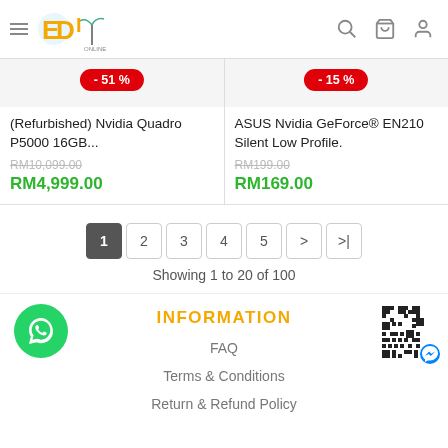EDI Online - Header navigation
(Refurbished) Nvidia Quadro P5000 16GB... RM10,099.00 RM4,999.00 -51%
ASUS Nvidia GeForce® EN210 Silent Low Profile. RM199.00 RM169.00 -15%
1 2 3 4 5 > >|
Showing 1 to 20 of 100
INFORMATION
FAQ
Terms & Conditions
Return & Refund Policy